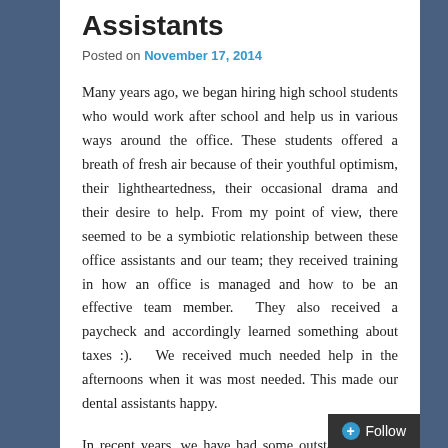Assistants
Posted on November 17, 2014
Many years ago, we began hiring high school students who would work after school and help us in various ways around the office. These students offered a breath of fresh air because of their youthful optimism, their lightheartedness, their occasional drama and their desire to help. From my point of view, there seemed to be a symbiotic relationship between these office assistants and our team; they received training in how an office is managed and how to be an effective team member. They also received a paycheck and accordingly learned something about taxes :). We received much needed help in the afternoons when it was most needed. This made our dental assistants happy.
In recent years, we have had some outstanding high school assistants. First there was Michelle, the daughter of one of our good friends, who was blessed with an infectious smile and upbeat personality to go along